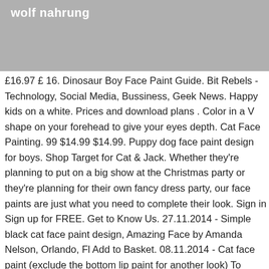wolf nahrung
£16.97 £ 16. Dinosaur Boy Face Paint Guide. Bit Rebels - Technology, Social Media, Bussiness, Geek News. Happy kids on a white. Prices and download plans . Color in a V shape on your forehead to give your eyes depth. Cat Face Painting. 99 $14.99 $14.99. Puppy dog face paint design for boys. Shop Target for Cat & Jack. Whether they're planning to put on a big show at the Christmas party or they're planning for their own fancy dress party, our face paints are just what you need to complete their look. Sign in Sign up for FREE. Get to Know Us. 27.11.2014 - Simple black cat face paint design, Amazing Face by Amanda Nelson, Orlando, Fl Add to Basket. 08.11.2014 - Cat face paint (exclude the bottom lip paint for another look) To make your own